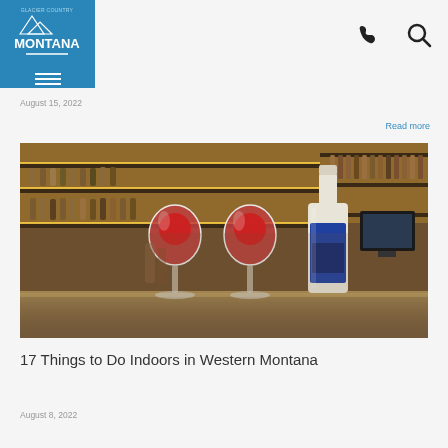Glacier Country Montana logo with phone and search icons
August 15, 2022
Read more
[Figure (photo): Two wine glasses filled with red wine and a wine bottle on a bar counter, with shelves of bottles in the background]
17 Things to Do Indoors in Western Montana
August 8, 2022